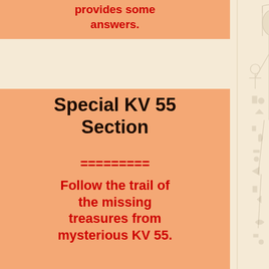provides some answers.
Special KV 55 Section
=========
Follow the trail of the missing treasures from mysterious KV 55.
KV 55's Lost Objects: Where Are They Today?
The KV 55 Coffin Basin and Gold Foil Sheets
KV 55 Gold Foil at
[Figure (illustration): Egyptian hieroglyphic relief carving showing ancient Egyptian figures and hieroglyphs on a light cream/beige background, depicting gods or royalty in traditional Egyptian artistic style]